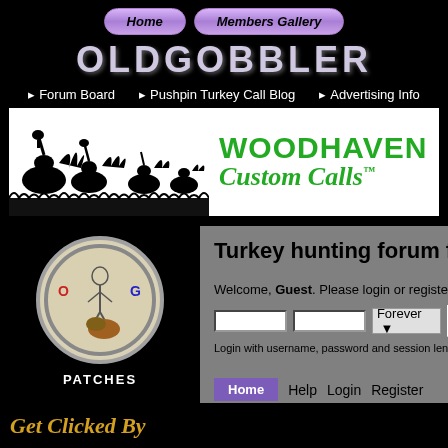Home | Members Gallery
OLDGOBBLER
Forum Board | Pushpin Turkey Call Blog | Advertising Info
[Figure (illustration): Woodhaven Custom Calls banner with turkey silhouettes on left and green logo text on right]
[Figure (illustration): Round patch with skeleton turkey caller figure and OG letters, labeled PATCHES]
Turkey hunting forum fo...
Welcome, Guest. Please login or register.
Login with username, password and session length
Home | Help | Login | Register